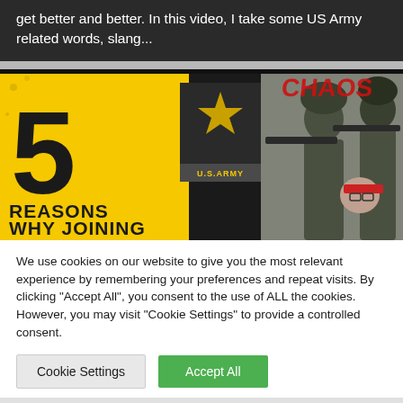get better and better. In this video, I take some US Army related words, slang...
[Figure (screenshot): YouTube thumbnail showing '5 Reasons Why Joining' the US Army, with large yellow background, number 5, US Army star logo, and soldiers in camouflage with 'Chaos' text overlay]
We use cookies on our website to give you the most relevant experience by remembering your preferences and repeat visits. By clicking "Accept All", you consent to the use of ALL the cookies. However, you may visit "Cookie Settings" to provide a controlled consent.
Cookie Settings | Accept All